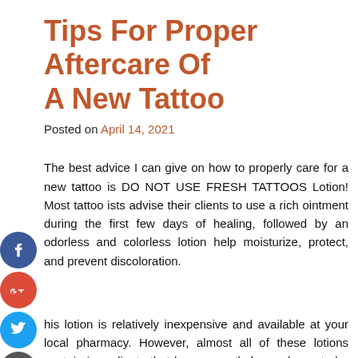Tips For Proper Aftercare Of A New Tattoo
Posted on April 14, 2021
The best advice I can give on how to properly care for a new tattoo is DO NOT USE FRESH TATTOOS Lotion! Most tattoo ists advise their clients to use a rich ointment during the first few days of healing, followed by an odorless and colorless lotion help moisturize, protect, and prevent discoloration.
his lotion is relatively inexpensive and available at your local pharmacy. However, almost all of these lotions contain ingredients that have recently been shown to be harmful rather than beneficial to the health of the tattoo. You can navigate to